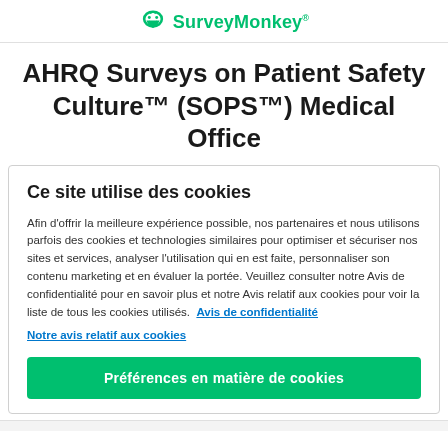SurveyMonkey
AHRQ Surveys on Patient Safety Culture™ (SOPS™) Medical Office
Ce site utilise des cookies
Afin d'offrir la meilleure expérience possible, nos partenaires et nous utilisons parfois des cookies et technologies similaires pour optimiser et sécuriser nos sites et services, analyser l'utilisation qui en est faite, personnaliser son contenu marketing et en évaluer la portée. Veuillez consulter notre Avis de confidentialité pour en savoir plus et notre Avis relatif aux cookies pour voir la liste de tous les cookies utilisés.  Avis de confidentialité
Notre avis relatif aux cookies